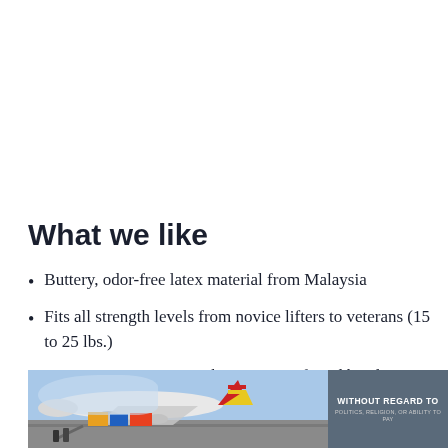What we like
Buttery, odor-free latex material from Malaysia
Fits all strength levels from novice lifters to veterans (15 to 25 lbs.)
Use it on its own or combine your preferred bands
[Figure (photo): Photo of cargo being loaded onto an airplane on a tarmac, with a dark gray overlay box in the bottom right corner containing text 'WITHOUT REGARD TO POLITICS, RELIGION, OR ABILITY TO PAY']